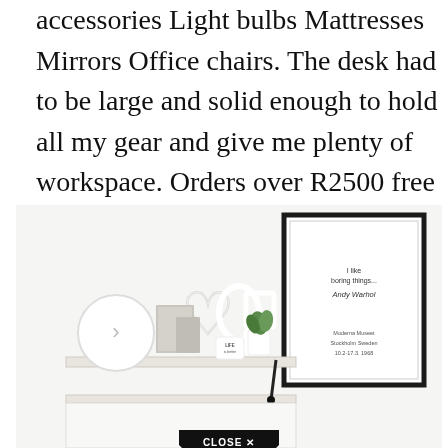accessories Light bulbs Mattresses Mirrors Office chairs. The desk had to be large and solid enough to hold all my gear and give me plenty of workspace. Orders over R2500 free courier to major cities.
[Figure (photo): A bright, minimal home office/shelf scene. A white wall-mounted shelf holds white picture frames (various shapes including heart and oval), a round white clock, a small plant in a white pot, a mug reading 'LIFE is better', and small decorative items. A framed art print on the wall reads 'I like boring things... Andy Warhol / Moderna Museet Stockholm Sweden 10.2-17.3. 1968'. At the bottom of the image is a 'CLOSE X' button overlay.]